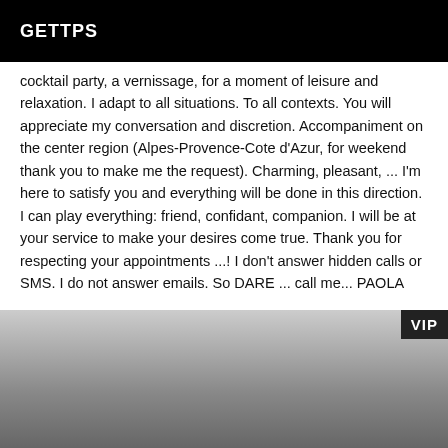GETTPS
cocktail party, a vernissage, for a moment of leisure and relaxation. I adapt to all situations. To all contexts. You will appreciate my conversation and discretion. Accompaniment on the center region (Alpes-Provence-Cote d'Azur, for weekend thank you to make me the request). Charming, pleasant, ... I'm here to satisfy you and everything will be done in this direction. I can play everything: friend, confidant, companion. I will be at your service to make your desires come true. Thank you for respecting your appointments ...! I don't answer hidden calls or SMS. I do not answer emails. So DARE ... call me... PAOLA
[Figure (photo): Grayscale photo partially visible at bottom of page with VIP badge overlay in upper right corner]